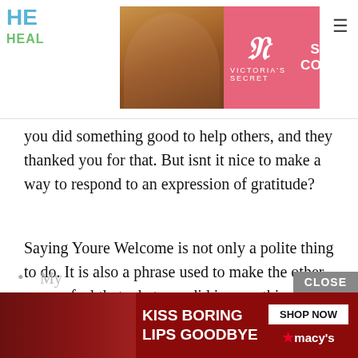[Figure (other): Victoria's Secret advertisement banner at top of page showing a model and 'SHOP THE COLLECTION / SHOP NOW' text]
you did something good to help others, and they thanked you for that. But isnt it nice to make a way to respond to an expression of gratitude?
Saying Youre Welcome is not only a polite thing to do. It is also a phrase used to make the other person feel that what you did is something from your heart. So letting the other person know that you are really sincere in the favor you did for him is one less thing to worry about.
How To Say Youre Welcome In Formal Situations
[Figure (other): Macy's advertisement banner at the bottom of the page showing 'KISS BORING LIPS GOODBYE / SHOP NOW / macy's' with a close button]